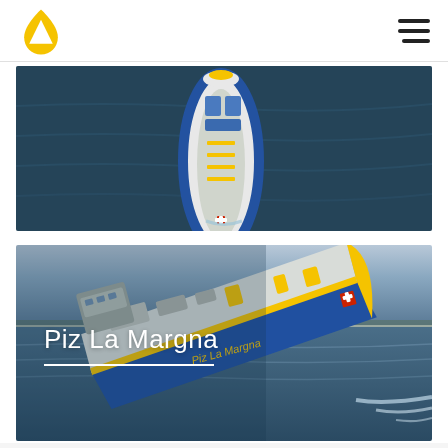[Figure (photo): Aerial top-down view of a yellow and blue tanker ship navigating on dark water]
[Figure (photo): Side aerial view of a yellow-and-blue tanker ship 'Piz La Margna' sailing on calm blue-grey water at dusk, with white wake behind it. Text 'Piz La Margna' overlaid in white on the lower left of the image.]